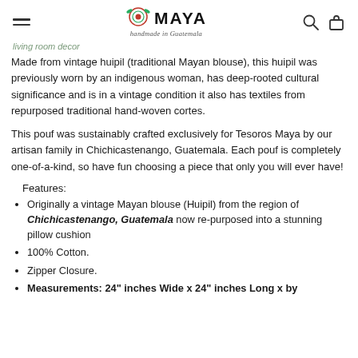MAYA handmade in Guatemala
living room decor
Made from vintage huipil (traditional Mayan blouse), this huipil was previously worn by an indigenous woman, has deep-rooted cultural significance and is in a vintage condition it also has textiles from repurposed traditional hand-woven cortes.
This pouf was sustainably crafted exclusively for Tesoros Maya by our artisan family in Chichicastenango, Guatemala. Each pouf is completely one-of-a-kind, so have fun choosing a piece that only you will ever have!
Features:
Originally a vintage Mayan blouse (Huipil) from the region of Chichicastenango, Guatemala now re-purposed into a stunning pillow cushion
100% Cotton.
Zipper Closure.
Measurements: 24" inches Wide x 24" inches Long x by